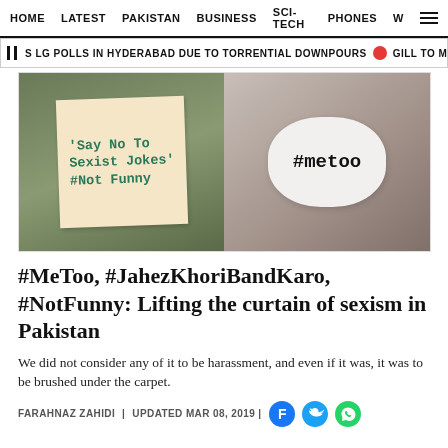HOME  LATEST  PAKISTAN  BUSINESS  SCI-TECH  PHONES  W
S LG POLLS IN HYDERABAD DUE TO TORRENTIAL DOWNPOURS  GILL TO MOVE S
[Figure (photo): Two photos: left shows person holding sign reading 'SAY NO TO SEXIST JOKES' #NOT FUNNY; right shows woman holding bubble sign with #metoo]
#MeToo, #JahezKhoriBandKaro, #NotFunny: Lifting the curtain of sexism in Pakistan
We did not consider any of it to be harassment, and even if it was, it was to be brushed under the carpet.
FARAHNAZ ZAHIDI | UPDATED MAR 08, 2019 |